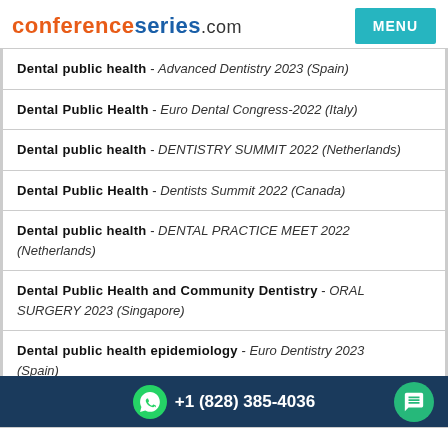conferenceseries.com
Dental public health - Advanced Dentistry 2023 (Spain)
Dental Public Health - Euro Dental Congress-2022 (Italy)
Dental public health - DENTISTRY SUMMIT 2022 (Netherlands)
Dental Public Health - Dentists Summit 2022 (Canada)
Dental public health - DENTAL PRACTICE MEET 2022 (Netherlands)
Dental Public Health and Community Dentistry - ORAL SURGERY 2023 (Singapore)
Dental public health epidemiology - Euro Dentistry 2023 (Spain)
+1 (828) 385-4036